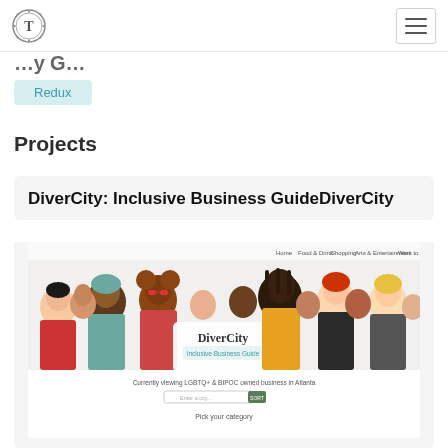T [logo] [hamburger menu]
Projects
Redux
Projects
DiverCity: Inclusive Business GuideDiverCity
[Figure (screenshot): Screenshot of DiverCity Inclusive Business Guide website showing a diverse crowd illustration header with navigation links (Home, Food & Drink, Shopping, Arts & Entertainment, Want to Visit), the DiverCity logo, subtitle 'Inclusive Business Guide', text 'Currently viewing LGBTQ+ & BIPOC owned business in Atlanta', a search bar with SORT button, and 'Pick your category' text.]